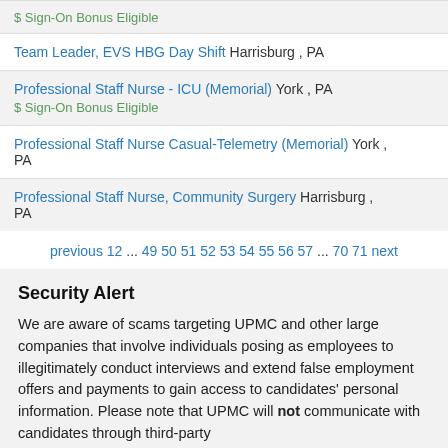$ Sign-On Bonus Eligible
Team Leader, EVS HBG Day Shift Harrisburg , PA
Professional Staff Nurse - ICU (Memorial) York , PA
$ Sign-On Bonus Eligible
Professional Staff Nurse Casual-Telemetry (Memorial) York , PA
Professional Staff Nurse, Community Surgery Harrisburg , PA
previous 12 ... 49 50 51 52 53 54 55 56 57 ... 70 71 next
Security Alert
We are aware of scams targeting UPMC and other large companies that involve individuals posing as employees to illegitimately conduct interviews and extend false employment offers and payments to gain access to candidates' personal information. Please note that UPMC will not communicate with candidates through third-party